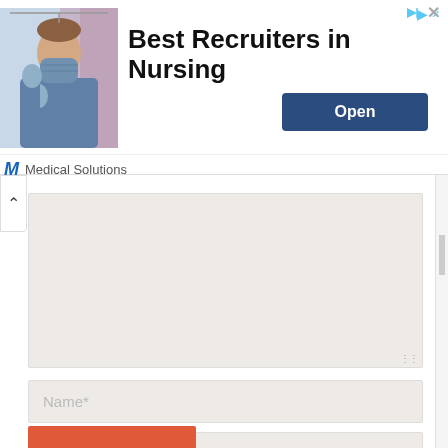[Figure (screenshot): Advertisement banner for Medical Solutions showing a nurse in blue scrubs and mask. Text reads 'Best Recruiters in Nursing' with an 'Open' button and Medical Solutions branding.]
Name*
Email*
Website